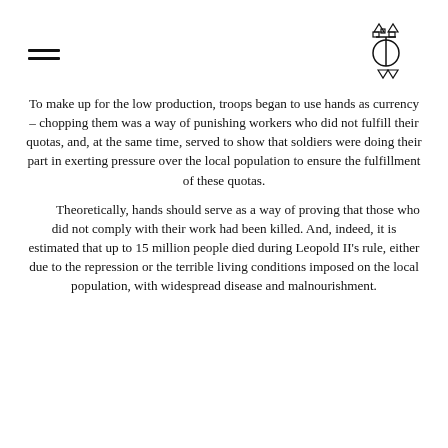[hamburger menu icon] [logo icon]
To make up for the low production, troops began to use hands as currency – chopping them was a way of punishing workers who did not fulfill their quotas, and, at the same time, served to show that soldiers were doing their part in exerting pressure over the local population to ensure the fulfillment of these quotas.
Theoretically, hands should serve as a way of proving that those who did not comply with their work had been killed. And, indeed, it is estimated that up to 15 million people died during Leopold II's rule, either due to the repression or the terrible living conditions imposed on the local population, with widespread disease and malnourishment.